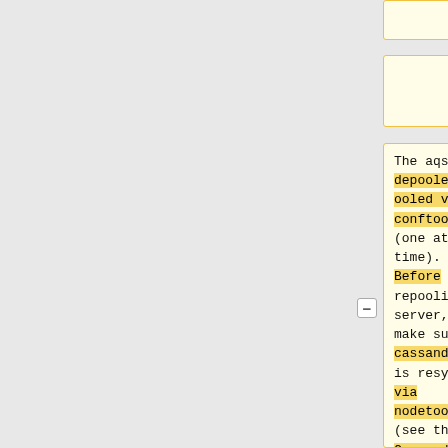service.
The aqs servers can be depooled/repooled via conftool (one at a time). Before repooling a server, make sure cassandra is resynced via nodetool (see the Cassandra section for
Cassandra needs to be roll restarted one node at the time, see the section about Cassandra in this page.